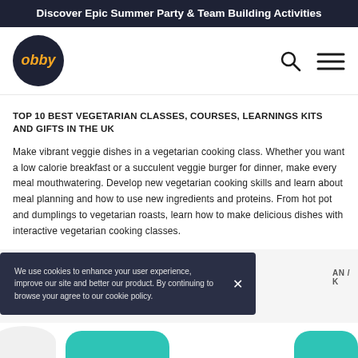Discover Epic Summer Party & Team Building Activities
[Figure (logo): Obby logo - dark navy circle with orange italic text 'obby', with search and hamburger menu icons on the right]
TOP 10 BEST VEGETARIAN CLASSES, COURSES, LEARNINGS KITS AND GIFTS IN THE UK
Make vibrant veggie dishes in a vegetarian cooking class. Whether you want a low calorie breakfast or a succulent veggie burger for dinner, make every meal mouthwatering. Develop new vegetarian cooking skills and learn about meal planning and how to use new ingredients and proteins. From hot pot and dumplings to vegetarian roasts, learn how to make delicious dishes with interactive vegetarian cooking classes.
We use cookies to enhance your user experience, improve our site and better our product. By continuing to browse your agree to our cookie policy.